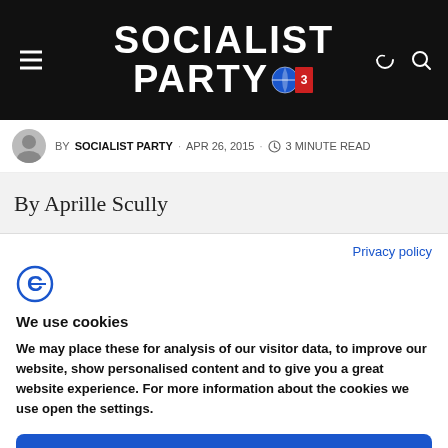Socialist Party
BY SOCIALIST PARTY · APR 26, 2015 · 3 MINUTE READ
By Aprille Scully
Privacy policy
We use cookies
We may place these for analysis of our visitor data, to improve our website, show personalised content and to give you a great website experience. For more information about the cookies we use open the settings.
Ok, continue
Deny
No, adjust